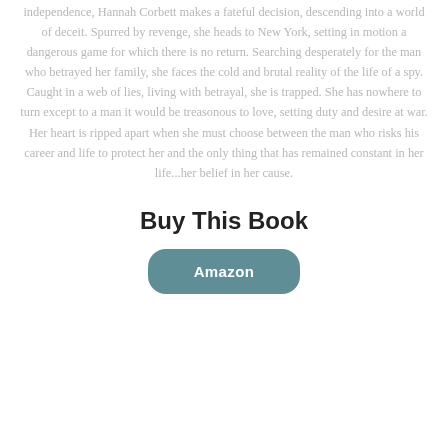independence, Hannah Corbett makes a fateful decision, descending into a world of deceit. Spurred by revenge, she heads to New York, setting in motion a dangerous game for which there is no return. Searching desperately for the man who betrayed her family, she faces the cold and brutal reality of the life of a spy. Caught in a web of lies, living with betrayal, she is trapped. She has nowhere to turn except to a man it would be treasonous to love, setting duty and desire at war. Her heart is ripped apart when she must choose between the man who risks his career and life to protect her and the only thing that has remained constant in her life...her belief in her cause.
Buy This Book
Amazon